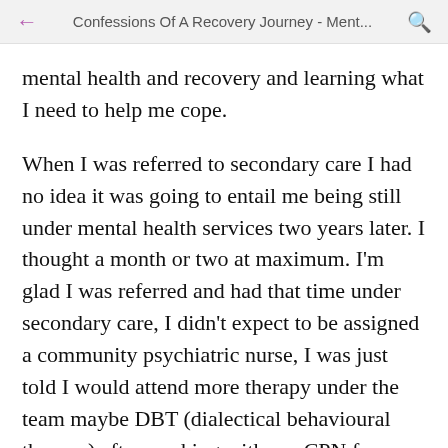Confessions Of A Recovery Journey - Ment...
mental health and recovery and learning what I need to help me cope.
When I was referred to secondary care I had no idea it was going to entail me being still under mental health services two years later. I thought a month or two at maximum. I'm glad I was referred and had that time under secondary care, I didn't expect to be assigned a community psychiatric nurse, I was just told I would attend more therapy under the team maybe DBT (dialectical behavioural therapy) after working with my CPN for a months the referral for therapy...